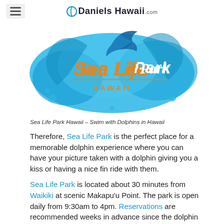Daniels Hawaii .com
[Figure (logo): Sea Life Park Hawaii logo with blue splash/wave design, dolphin, and orange script text reading 'Sea Life Park HAWAII']
Sea Life Park Hawaii – Swim with Dolphins in Hawaii
Therefore, Sea Life Park is the perfect place for a memorable dolphin experience where you can have your picture taken with a dolphin giving you a kiss or having a nice fin ride with them.
Sea Life Park is located about 30 minutes from Waikiki at scenic Makapu'u Point. The park is open daily from 9:30am to 4pm. Reservations are recommended weeks in advance since the dolphin rides are so popular. Also,